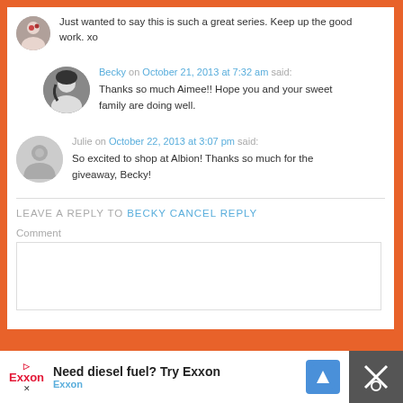Just wanted to say this is such a great series. Keep up the good work. xo
Becky on October 21, 2013 at 7:32 am said: Thanks so much Aimee!! Hope you and your sweet family are doing well.
Julie on October 22, 2013 at 3:07 pm said: So excited to shop at Albion! Thanks so much for the giveaway, Becky!
LEAVE A REPLY TO BECKY CANCEL REPLY
Comment
[Figure (screenshot): Exxon advertisement banner at bottom: Need diesel fuel? Try Exxon]